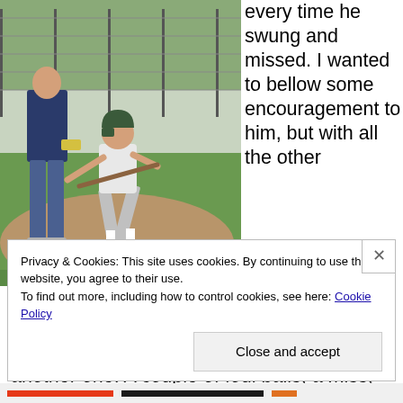[Figure (photo): Young boy in baseball uniform swinging a bat on a baseball field, with an adult standing in the background near a chain-link fence.]
every time he swung and missed. I wanted to bellow some encouragement to him, but with all the other parents silently rooting against my son, it didn't feel right. Then he connected. I was surprised at my pride. Then a line drive, and another one. A couple of foul balls, a miss,
Privacy & Cookies: This site uses cookies. By continuing to use this website, you agree to their use.
To find out more, including how to control cookies, see here: Cookie Policy
Close and accept